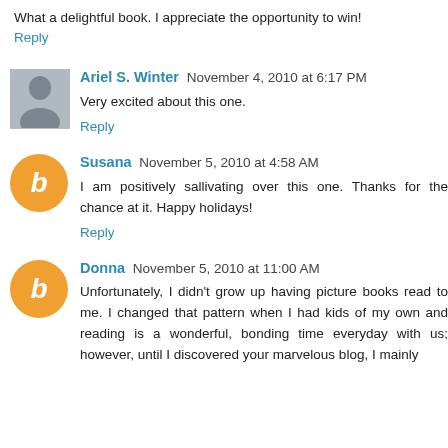What a delightful book. I appreciate the opportunity to win!
Reply
Ariel S. Winter  November 4, 2010 at 6:17 PM
Very excited about this one.
Reply
Susana  November 5, 2010 at 4:58 AM
I am positively sallivating over this one. Thanks for the chance at it. Happy holidays!
Reply
Donna  November 5, 2010 at 11:00 AM
Unfortunately, I didn't grow up having picture books read to me. I changed that pattern when I had kids of my own and reading is a wonderful, bonding time everyday with us; however, until I discovered your marvelous blog, I mainly